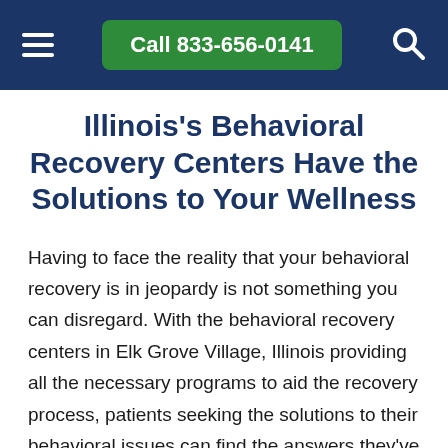Call 833-656-0141
Illinois's Behavioral Recovery Centers Have the Solutions to Your Wellness
Having to face the reality that your behavioral recovery is in jeopardy is not something you can disregard. With the behavioral recovery centers in Elk Grove Village, Illinois providing all the necessary programs to aid the recovery process, patients seeking the solutions to their behavioral issues can find the answers they've